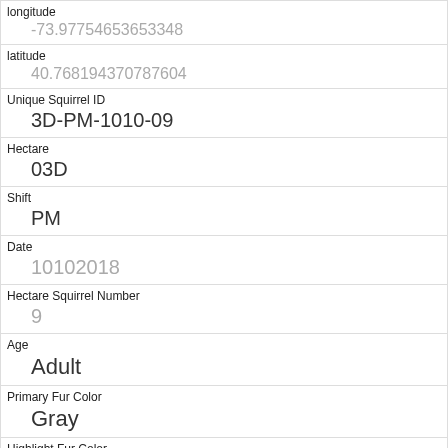| longitude | -73.97754653653348 |
| latitude | 40.768194370787604 |
| Unique Squirrel ID | 3D-PM-1010-09 |
| Hectare | 03D |
| Shift | PM |
| Date | 10102018 |
| Hectare Squirrel Number | 9 |
| Age | Adult |
| Primary Fur Color | Gray |
| Highlight Fur Color |  |
| Combination of Primary and Highlight Color |  |